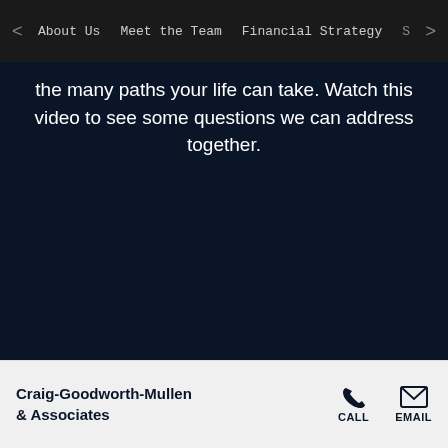< About Us  Meet the Team  Financial Strategy  S >
the many paths your life can take. Watch this video to see some questions we can address together.
Craig-Goodworth-Mullen & Associates   CALL  EMAIL